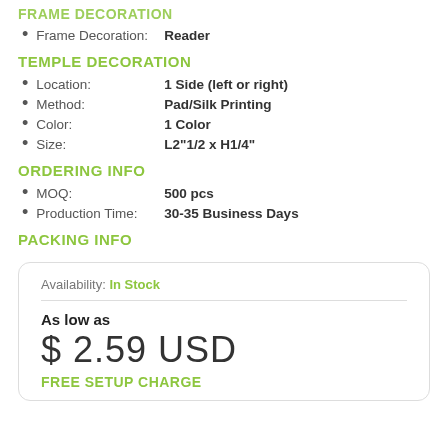FRAME DECORATION
Frame Decoration:  Reader
TEMPLE DECORATION
Location:  1 Side (left or right)
Method:  Pad/Silk Printing
Color:  1 Color
Size:  L2"1/2 x H1/4"
ORDERING INFO
MOQ:  500 pcs
Production Time:  30-35 Business Days
PACKING INFO
Availability: In Stock
As low as
$ 2.59 USD
FREE SETUP CHARGE